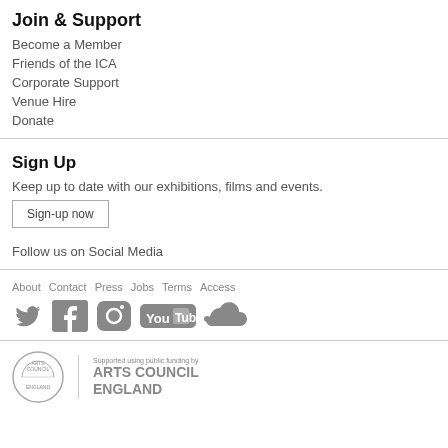Join & Support
Become a Member
Friends of the ICA
Corporate Support
Venue Hire
Donate
Sign Up
Keep up to date with our exhibitions, films and events.
Sign-up now
Follow us on Social Media
About  Contact  Press  Jobs  Terms  Access
[Figure (logo): Social media icons: Twitter, Facebook, Instagram, YouTube, SoundCloud]
[Figure (logo): Arts Council England logo with text: Supported using public funding by ARTS COUNCIL ENGLAND]